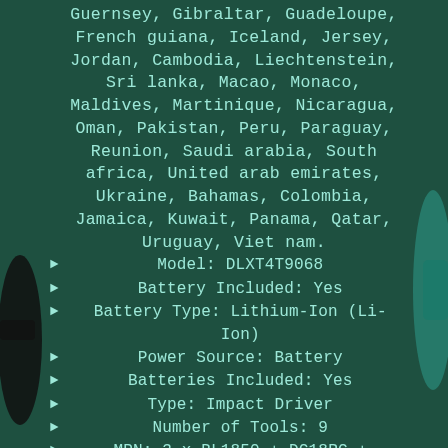Guernsey, Gibraltar, Guadeloupe, French guiana, Iceland, Jersey, Jordan, Cambodia, Liechtenstein, Sri lanka, Macao, Monaco, Maldives, Martinique, Nicaragua, Oman, Pakistan, Peru, Paraguay, Reunion, Saudi arabia, South africa, United arab emirates, Ukraine, Bahamas, Colombia, Jamaica, Kuwait, Panama, Qatar, Uruguay, Viet nam.
Model: DLXT4T9068
Battery Included: Yes
Battery Type: Lithium-Ion (Li-Ion)
Power Source: Battery
Batteries Included: Yes
Type: Impact Driver
Number of Tools: 9
MPN: 3 x BL1850 + DC18RC + LXT400 +LXT600
Number of Batteries: 9
Battery Technology: Lithium-Ion